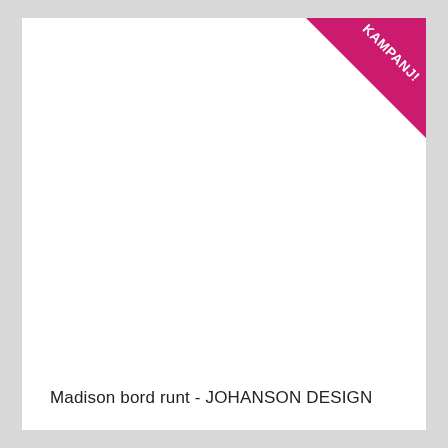[Figure (illustration): Pink/magenta triangular corner banner in the top-right corner with white bold text reading KAMPANJ!]
Madison bord runt - JOHANSON DESIGN